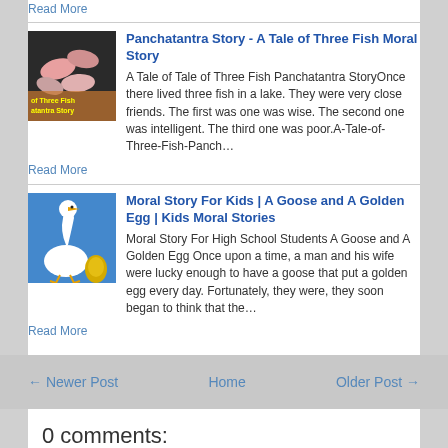Read More
Panchatantra Story - A Tale of Three Fish Moral Story
A Tale of Tale of Three Fish Panchatantra StoryOnce there lived three fish in a lake. They were very close friends. The first was one was wise. The second one was intelligent. The third one was poor.A-Tale-of-Three-Fish-Panch…
Read More
Moral Story For Kids | A Goose and A Golden Egg | Kids Moral Stories
Moral Story For High School Students  A Goose and A Golden Egg Once upon a time, a man and his wife were lucky enough to have a goose that put a golden egg every day. Fortunately, they were, they soon began to think that the…
Read More
← Newer Post
Home
Older Post →
0 comments:
Post a Comment